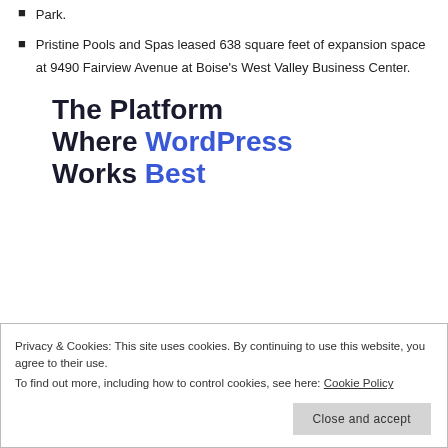Park.
Pristine Pools and Spas leased 638 square feet of expansion space at 9490 Fairview Avenue at Boise's West Valley Business Center.
The Platform Where WordPress Works Best
Privacy & Cookies: This site uses cookies. By continuing to use this website, you agree to their use.
To find out more, including how to control cookies, see here: Cookie Policy